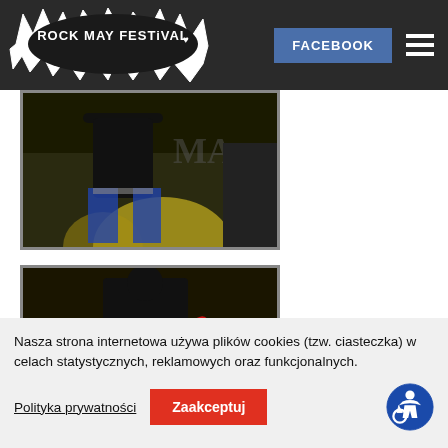[Figure (logo): Rock May Festival logo with white spiky decorative border on dark background]
[Figure (photo): Festival performer on stage with yellow stage lighting, wearing black hoodie and jeans]
[Figure (photo): Guitarist on stage playing a red guitar, wearing black MADNESS hoodie, with yellow stage lighting]
Nasza strona internetowa używa plików cookies (tzw. ciasteczka) w celach statystycznych, reklamowych oraz funkcjonalnych.
Polityka prywatności
Zaakceptuj